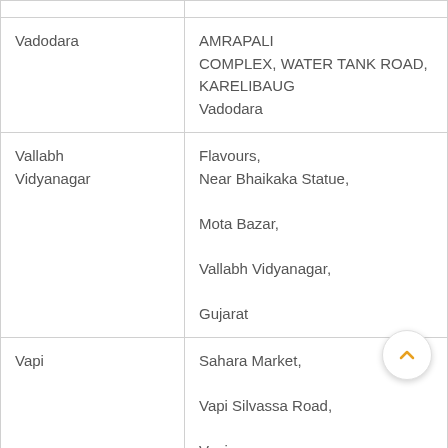| City | Address |
| --- | --- |
|  |  |
| Vadodara | AMRAPALI COMPLEX, WATER TANK ROAD, KARELIBAUG
Vadodara |
| Vallabh Vidyanagar | Flavours,
Near Bhaikaka Statue,
Mota Bazar,
Vallabh Vidyanagar,
Gujarat |
| Vapi | Sahara Market,
Vapi Silvassa Road,
Vapi |
| Varanasi | D-48/141-A, Ishwar |